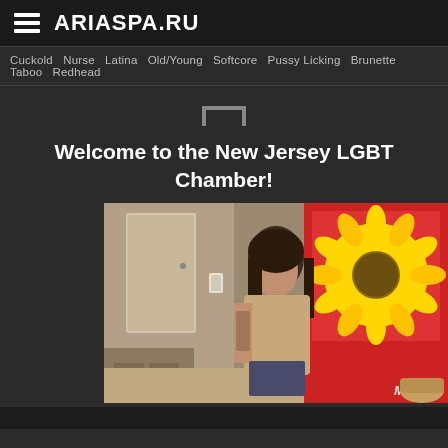ARIASPA.RU
Cuckold  Nurse  Latina  Old/Young  Softcore  Pussy Licking  Brunette  Taboo  Redhead
[Figure (illustration): Small bracket/frame icon]
Welcome to the New Jersey LGBT Chamber!
[Figure (photo): A woman with dark hair and tattoos standing in a hotel room wearing a beige top and denim shorts. A colorful sunflower painting is visible on the wall. Watermark 'Mom' partially visible in bottom right corner.]